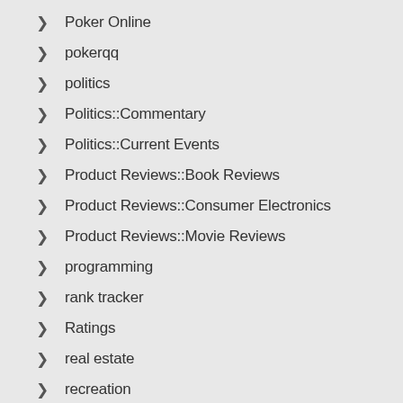> Poker Online
> pokerqq
> politics
> Politics::Commentary
> Politics::Current Events
> Product Reviews::Book Reviews
> Product Reviews::Consumer Electronics
> Product Reviews::Movie Reviews
> programming
> rank tracker
> Ratings
> real estate
> recreation